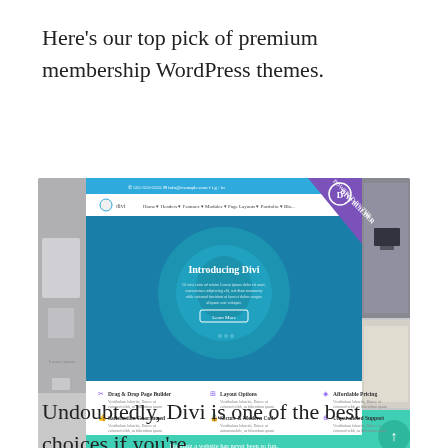Here's our top pick of premium membership WordPress themes.
[Figure (screenshot): Screenshot of the Divi WordPress theme website showing the theme's homepage with a blue teal hero section saying 'Introducing Divi', feature sections with icons for Drag & Drop Page Builder, Layout Options, Affordable Pricing, Satisfaction Guaranteed, Secure & Modern Code, Unparalleled Support, and a teal footer section saying 'Building a website has never been so fun.' A purple banner in the top-right corner reads 'POWERED BY THE DIVI BUILDER'. Side panels show additional room/office interior images.]
Undoubtedly, Divi is one of the best choices if you're